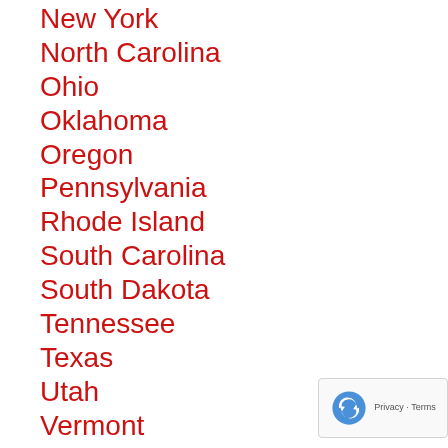New York
North Carolina
Ohio
Oklahoma
Oregon
Pennsylvania
Rhode Island
South Carolina
South Dakota
Tennessee
Texas
Utah
Vermont
Virginia
Washington
West Virginia
Wisconsin
Wyoming